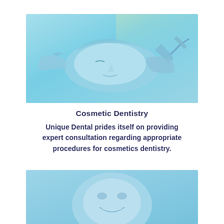[Figure (photo): Blue-tinted photo of a dental patient reclining with eyes closed while a dental professional in blue gloves works near the patient's mouth with an instrument.]
Cosmetic Dentistry
Unique Dental prides itself on providing expert consultation regarding appropriate procedures for cosmetics dentistry.
[Figure (photo): Blue-tinted photo partially visible at bottom of page showing a smiling person, likely a dental professional or patient.]